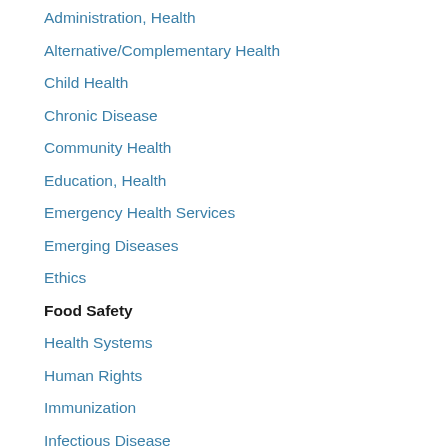Administration, Health
Alternative/Complementary Health
Child Health
Chronic Disease
Community Health
Education, Health
Emergency Health Services
Emerging Diseases
Ethics
Food Safety
Health Systems
Human Rights
Immunization
Infectious Disease
Infrastructure
Law, Public Health